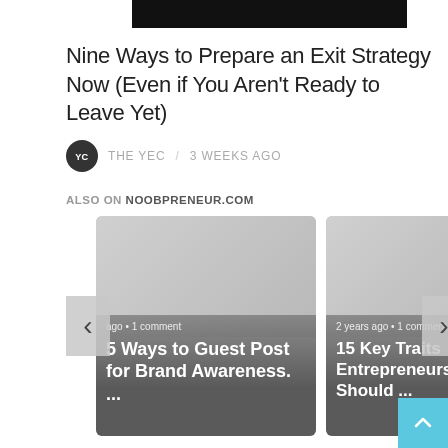[Figure (photo): Dark/black rectangular image cropped at top of page]
Nine Ways to Prepare an Exit Strategy Now (Even if You Aren't Ready to Leave Yet)
THE YEC / 3 WEEKS AGO
ALSO ON NOOBPRENEUR.COM
[Figure (screenshot): Card carousel with two article thumbnails. Left card: 'ago • 1 comment / 5 Ways to Guest Post for Brand Awareness. ...' Right card: '2 years ago • 1 comment / 15 Key Traits Entrepreneurs Should ...' with left and right navigation arrows.]